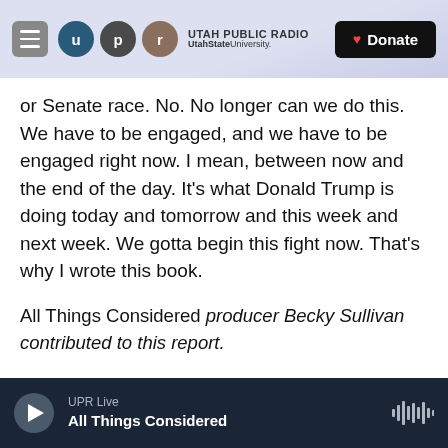Utah Public Radio — UtahStateUniversity. Donate
or Senate race. No. No longer can we do this. We have to be engaged, and we have to be engaged right now. I mean, between now and the end of the day. It's what Donald Trump is doing today and tomorrow and this week and next week. We gotta begin this fight now. That's why I wrote this book.
All Things Considered producer Becky Sullivan contributed to this report.
Copyright 2021 NPR. To see more, visit https://www.npr.org.
UPR Live — All Things Considered